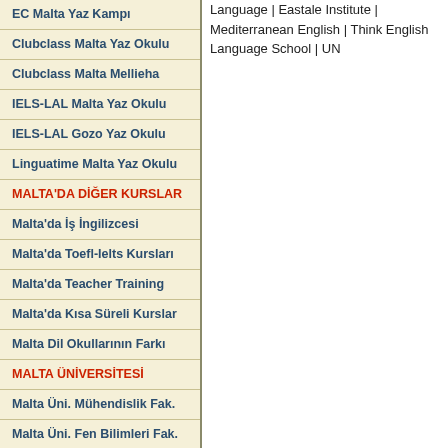EC Malta Yaz Kampı
Clubclass Malta Yaz Okulu
Clubclass Malta Mellieha
IELS-LAL Malta Yaz Okulu
IELS-LAL Gozo Yaz Okulu
Linguatime Malta Yaz Okulu
MALTA'DA DİĞER KURSLAR
Malta'da İş İngilizcesi
Malta'da Toefl-Ielts Kursları
Malta'da Teacher Training
Malta'da Kısa Süreli Kurslar
Malta Dil Okullarının Farkı
MALTA ÜNİVERSİTESİ
Malta Üni. Mühendislik Fak.
Malta Üni. Fen Bilimleri Fak.
Malta Üni. Hukuk Fakültesi
Malta Üni. İşletme Fakültesi
Malta Üni. Eğitim Fakültesi
Malta Üni. Edebiyat Fakültesi
Language | Eastale Institute | Mediterranean English | Think English Language School | UN...